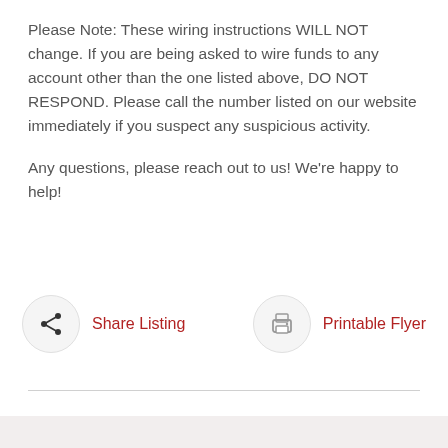Please Note: These wiring instructions WILL NOT change. If you are being asked to wire funds to any account other than the one listed above, DO NOT RESPOND. Please call the number listed on our website immediately if you suspect any suspicious activity.
Any questions, please reach out to us! We're happy to help!
[Figure (other): Share Listing button with share icon in a circle and red label text]
[Figure (other): Printable Flyer button with printer icon in a circle and red label text]